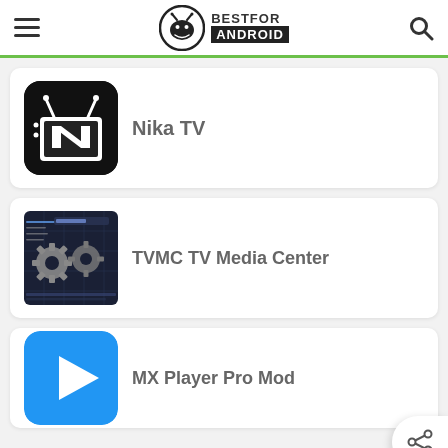[Figure (logo): BestForAndroid website header with hamburger menu, circular android logo, BESTFOR ANDROID text, and search icon]
Nika TV
[Figure (screenshot): Nika TV app icon - black rounded square with TV antenna icon and letter N]
TVMC TV Media Center
[Figure (screenshot): TVMC TV Media Center app screenshot showing gear/settings interface with dark background]
MX Player Pro Mod
[Figure (screenshot): MX Player Pro Mod app icon showing blue play button]